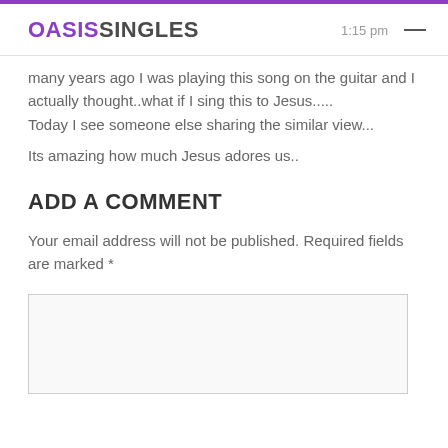OASISSINGLES
many years ago I was playing this song on the guitar and I actually thought..what if I sing this to Jesus.....
Today I see someone else sharing the similar view...
Its amazing how much Jesus adores us..
ADD A COMMENT
Your email address will not be published. Required fields are marked *